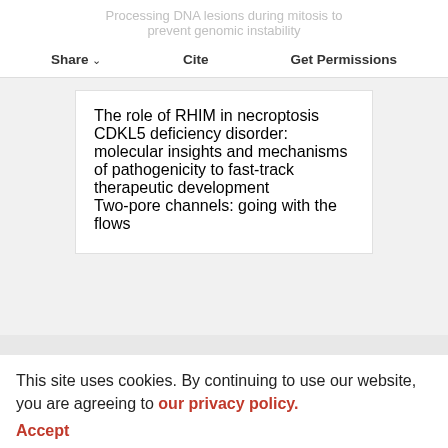Processing DNA lesions during mitosis to prevent genomic instability
The role of RHIM in necroptosis
CDKL5 deficiency disorder: molecular insights and mechanisms of pathogenicity to fast-track therapeutic development
Two-pore channels: going with the flows
This site uses cookies. By continuing to use our website, you are agreeing to our privacy policy. Accept